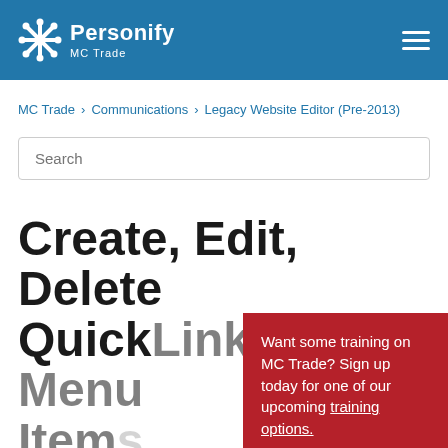Personify MC Trade
MC Trade > Communications > Legacy Website Editor (Pre-2013)
Search
Create, Edit, Delete QuickLinks / Menu Items
Want some training on MC Trade? Sign up today for one of our upcoming training options.